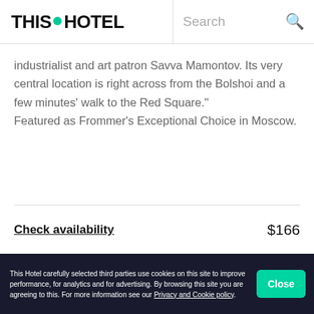[Figure (logo): THIS HOTEL logo with green pin dot between THIS and HOTEL]
Search
industrialist and art patron Savva Mamontov. Its very central location is right across from the Bolshoi and a few minutes' walk to the Red Square." Featured as Frommer's Exceptional Choice in Moscow.
Check availability   $166
[Figure (photo): Hotel interior/exterior photo with ornate decor, rating 4.3 displayed in top right corner, with a white card overlay showing Check availability and $120]
Check availability   $120
This Hotel carefully selected third parties use cookies on this site to improve performance, for analytics and for advertising. By browsing this site you are agreeing to this. For more information see our Privacy and Cookie policy.